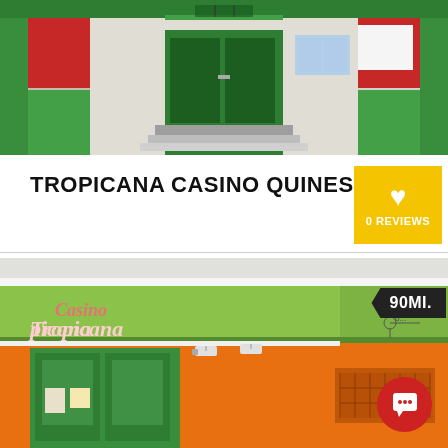[Figure (photo): Top portion of a building facade with green trim, red panels, and a central green door with steps, white and grey walls visible]
TROPICANA CASINO QUINES
0 REVIEWS
[Figure (photo): Casino Tropicana building exterior with green and orange painted walls, green entrance door, surveillance cameras, and a cursive 'Casino Tropicana' sign on the green canopy. Distance badge shows 90MI. A red chat button appears in the bottom-right corner.]